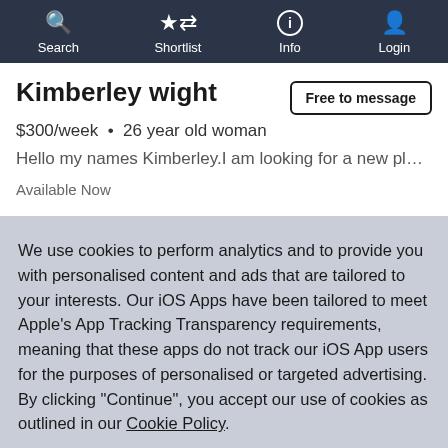Search  Shortlist  Info  Login
Kimberley wight
$300/week  •  26 year old woman
Hello my names Kimberley.I am looking for a new place to li...
Available Now
We use cookies to perform analytics and to provide you with personalised content and ads that are tailored to your interests. Our iOS Apps have been tailored to meet Apple's App Tracking Transparency requirements, meaning that these apps do not track our iOS App users for the purposes of personalised or targeted advertising. By clicking "Continue", you accept our use of cookies as outlined in our Cookie Policy.
Continue